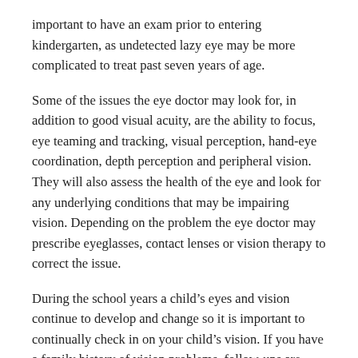important to have an exam prior to entering kindergarten, as undetected lazy eye may be more complicated to treat past seven years of age.
Some of the issues the eye doctor may look for, in addition to good visual acuity, are the ability to focus, eye teaming and tracking, visual perception, hand-eye coordination, depth perception and peripheral vision. They will also assess the health of the eye and look for any underlying conditions that may be impairing vision. Depending on the problem the eye doctor may prescribe eyeglasses, contact lenses or vision therapy to correct the issue.
During the school years a child’s eyes and vision continue to develop and change so it is important to continually check in on your child’s vision. If you have a family history of vision problems, follow-ups are even more important. Progressive conditions like progressive myopia, strabismus (crossed eyes), amblyopia (lazy eye) or astigmatism can be treated and monitored for changes with early treatment so it’s important to seek a doctor’s diagnosis as soon as signs or symptoms are present.
Make sure that your child has the best possible chances for success in school and add a comprehensive eye exam to your back to school to-do list.